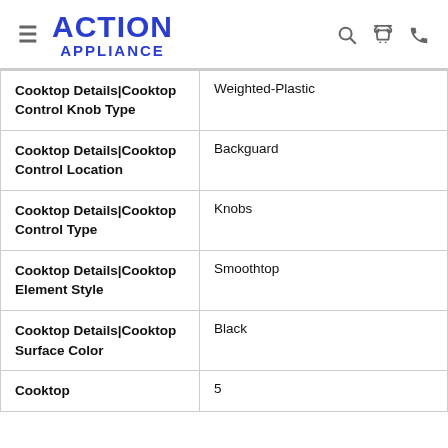ACTION APPLIANCE
| Attribute | Value |
| --- | --- |
| Cooktop Details|Cooktop Control Knob Type | Weighted-Plastic |
| Cooktop Details|Cooktop Control Location | Backguard |
| Cooktop Details|Cooktop Control Type | Knobs |
| Cooktop Details|Cooktop Element Style | Smoothtop |
| Cooktop Details|Cooktop Surface Color | Black |
| Cooktop | 5 |